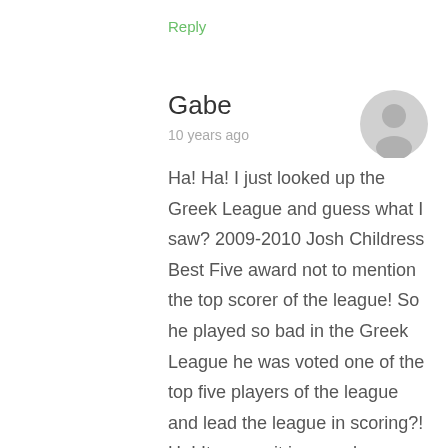Reply
Gabe
10 years ago
[Figure (illustration): Generic user avatar - grey circle with person silhouette]
Ha! Ha! I just looked up the Greek League and guess what I saw? 2009-2010 Josh Childress Best Five award not to mention the top scorer of the league! So he played so bad in the Greek League he was voted one of the top five players of the league and lead the league in scoring?! Ha! It seems it is you who are lying and hitting the crack pipe Erik. Even his first year in the league he was 5th in scoring and 4th in blocks.